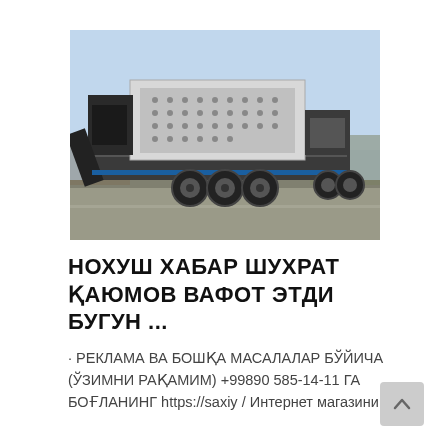[Figure (photo): A large mobile crushing/screening machine mounted on a truck trailer, photographed outdoors on a road with light blue sky and sparse trees in the background. The machine is white and black with heavy industrial equipment.]
НОХУШ ХАБАР ШУХРАТ ҚАЮМОВ ВАФОТ ЭТДИ БУГУН ...
· РЕКЛАМА ВА БОШҚА МАСАЛАЛАР БЎЙИЧА (ЎЗИМНИ РАҚАМИМ) +99890 585-14-11 ГА БОҒЛАНИНГ https://saxiy / Интернет магазини ...